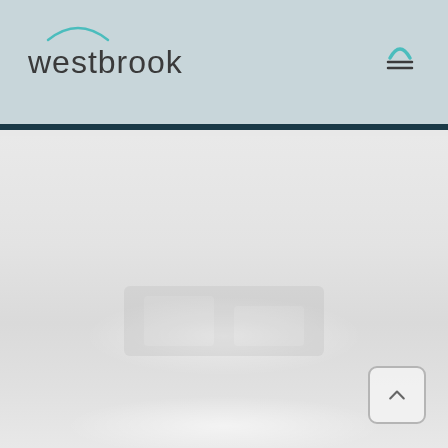westbrook
[Figure (screenshot): Westbrook insurance website screenshot showing header with logo and navigation menu icon, with a light grey body area containing a faint watermark/background image]
[Figure (other): Back to top button - square with rounded corners containing an upward chevron arrow, positioned bottom right]